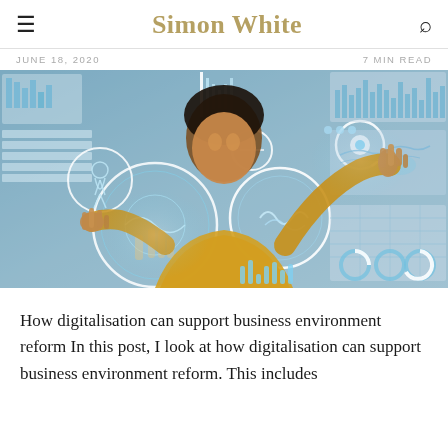Simon White
JUNE 18, 2020   7 MIN READ
[Figure (photo): Woman in yellow sweater interacting with holographic digital UI overlays showing data dashboards, world maps, brain scans, and HUD circle elements on a blue-grey background]
How digitalisation can support business environment reform In this post, I look at how digitalisation can support business environment reform. This includes